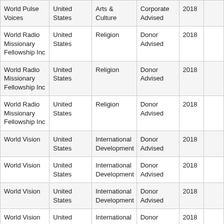| Organization | Country | Category | Type | Year | Amount |
| --- | --- | --- | --- | --- | --- |
| World Pulse Voices | United States | Arts & Culture | Corporate Advised | 2018 |  |
| World Radio Missionary Fellowship Inc | United States | Religion | Donor Advised | 2018 |  |
| World Radio Missionary Fellowship Inc | United States | Religion | Donor Advised | 2018 |  |
| World Radio Missionary Fellowship Inc | United States | Religion | Donor Advised | 2018 |  |
| World Vision | United States | International Development | Donor Advised | 2018 |  |
| World Vision | United States | International Development | Donor Advised | 2018 |  |
| World Vision | United States | International Development | Donor Advised | 2018 |  |
| World Vision | United States | International Development | Donor Advised | 2018 |  |
| Total SUM |  |  |  |  | $ |